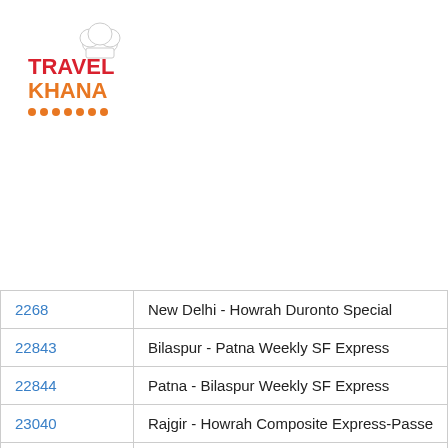[Figure (logo): TravelKhana logo with chef hat icon, red TRAVEL text, orange KHANA text, orange dots underline]
| Train No. | Train Name |
| --- | --- |
| 2268 | New Delhi - Howrah Duronto Special |
| 22843 | Bilaspur - Patna Weekly SF Express |
| 22844 | Patna - Bilaspur Weekly SF Express |
| 23040 | Rajgir - Howrah Composite Express-Passe... |
| 23111 | Giridih - Patna Express |
| 2315 | Ananya SF Special (PT) |
| 2316 | Ananya SF Special |
| 2359 | Kolkata - Patna Garib Rath Special |
| 2369 | Kumbh Special |
| 24002 | Baba Baidyanath Dham Deoghar Humsafa... |